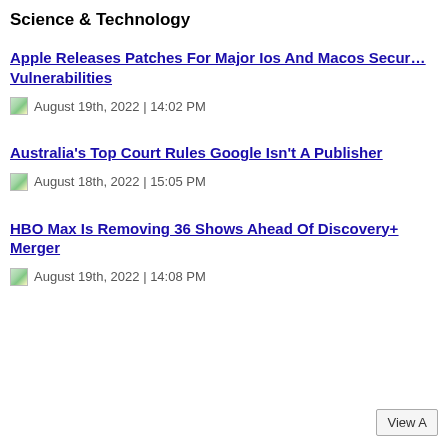Science & Technology
Apple Releases Patches For Major Ios And Macos Security Vulnerabilities
August 19th, 2022 | 14:02 PM
Australia's Top Court Rules Google Isn't A Publisher
August 18th, 2022 | 15:05 PM
HBO Max Is Removing 36 Shows Ahead Of Discovery+ Merger
August 19th, 2022 | 14:08 PM
View A